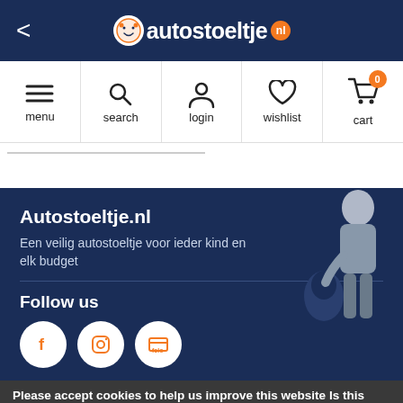autostoeltje.nl
[Figure (screenshot): Navigation bar with menu, search, login, wishlist, and cart icons]
[Figure (screenshot): Footer section with Autostoeltje.nl branding, tagline, person image, Follow us section with social media icons]
Autostoeltje.nl
Een veilig autostoeltje voor ieder kind en elk budget
Follow us
Please accept cookies to help us improve this website Is this OK?
Rece... a... rs and promotions
E-mail address